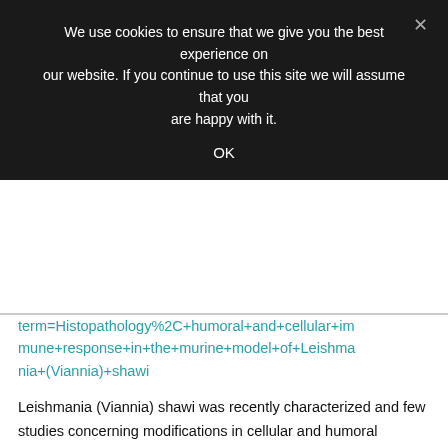We use cookies to ensure that we give you the best experience on our website. If you continue to use this site we will assume that you are happy with it.
OK
term=Histopathology%2C+humoral+and+cellular+immune+response+in+the+murine+model+of+Leishmania+(Viannia)+shawi
Leishmania (Viannia) shawi was recently characterized and few studies concerning modifications in cellular and humoral immune responses in experimental leishmaniasis have been conducted. In this work, immunopathological changes induced by L. shawi in chronically infected BALB/c mice were investigated. Infected BALB/c mice developed increased lesion size associated with strong inflammatory infiltrate diffusely